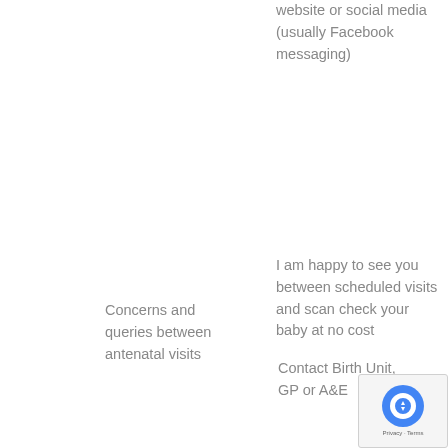website or social media (usually Facebook messaging)
Concerns and queries between antenatal visits
Contact Birth Unit, GP or A&E
I am happy to see you between scheduled visits and scan check your baby at no cost
If urgent problem out of hours when in labour